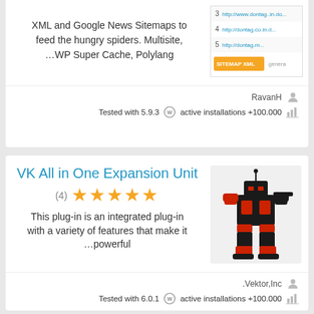XML and Google News Sitemaps to feed the hungry spiders. Multisite, …WP Super Cache, Polylang
[Figure (screenshot): Partial screenshot of a sitemap plugin interface showing numbered rows with URLs and an orange SITEMAP XML button]
RavanH
Tested with 5.9.3  active installations +100.000
VK All in One Expansion Unit
(4) ★★★★★
This plug-in is an integrated plug-in with a variety of features that make it ...powerful
[Figure (illustration): Robot/mech warrior illustration in black and red, standing upright with weapon]
.Vektor,Inc
Tested with 6.0.1  active installations +100.000
Simple Sitemap – Create a